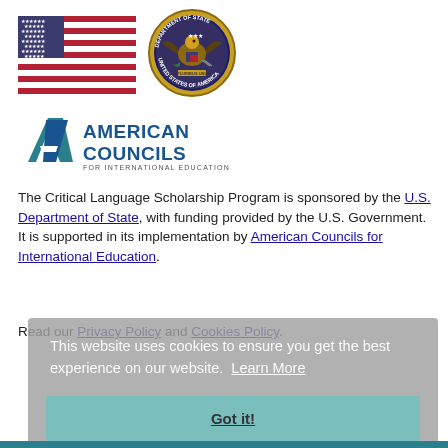[Figure (logo): US Flag and US Department of State seal logos side by side]
[Figure (logo): American Councils for International Education logo]
The Critical Language Scholarship Program is sponsored by the U.S. Department of State, with funding provided by the U.S. Government. It is supported in its implementation by American Councils for International Education.
Read our Privacy Policy and Cookies Policy.
This website uses cookies to ensure you get the best experience on our website. Learn More
[Figure (infographic): Social media icons: Facebook, Twitter, LinkedIn, Instagram, YouTube]
Got it!